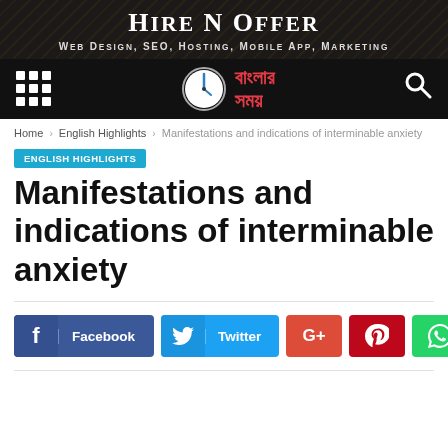HIRE N OFFER
Web Design, SEO, Hosting, Mobile App, Marketing
[Figure (logo): Navigation bar with grid/hamburger icon on left, Bangla Samay clock logo in center, search icon on right, on dark background]
Home › English Highlights › Manifestations and indications of interminable anxiety
ENGLISH HIGHLIGHTS
Manifestations and indications of interminable anxiety
[Figure (infographic): Social share buttons row: Facebook (blue), Twitter (cyan), Google+ (red), Pinterest (red), WhatsApp (green)]